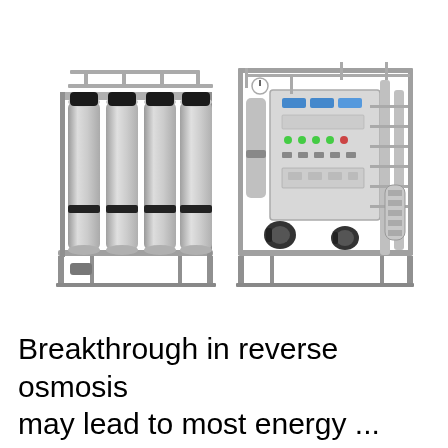[Figure (photo): Two industrial reverse osmosis water filtration systems side by side. Left unit has four tall stainless steel cylindrical filter columns on a metal frame. Right unit is a larger complex system with a central control panel with gauges and indicators, multiple pumps, pipes, and valves on a stainless steel frame.]
Breakthrough in reverse osmosis may lead to most energy ...